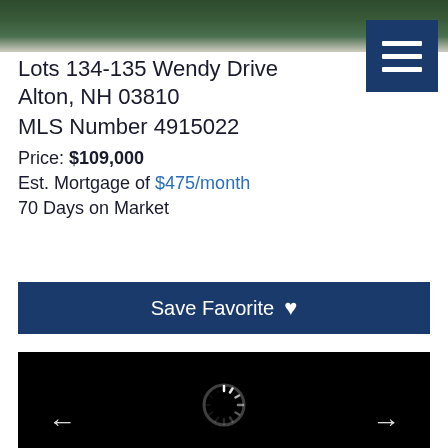[Figure (photo): Aerial/nature photo strip at top of page showing green trees and sky]
Lots 134-135 Wendy Drive
Alton, NH 03810
MLS Number 4915022
Price: $109,000
Est. Mortgage of $475/month
70 Days on Market
[Figure (screenshot): Save Favorite button with heart icon in navy blue]
[Figure (photo): Property photo gallery area showing black background with loading spinner and left/right navigation arrows]